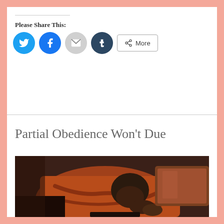Please Share This:
[Figure (screenshot): Social sharing buttons: Twitter (blue circle), Facebook (blue circle), Email (grey circle), Tumblr (dark circle), and a More button with share icon]
Partial Obedience Won’t Due
[Figure (photo): A person in a rust/orange jacket bowing their head down onto a surface in what appears to be a church pew, in a posture of prayer]